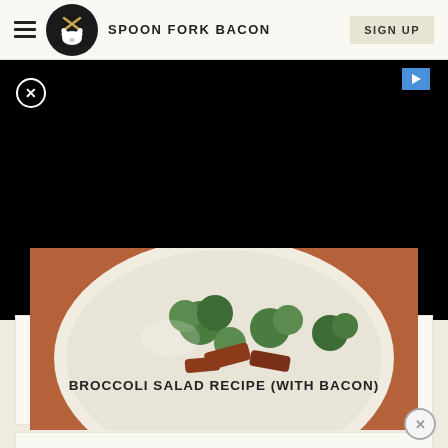SPOON FORK BACON
[Figure (screenshot): Black ad overlay with close X button and play button]
[Figure (photo): Photo of broccoli salad with bacon pieces on a white plate]
BROCCOLI SALAD RECIPE (WITH BACON)